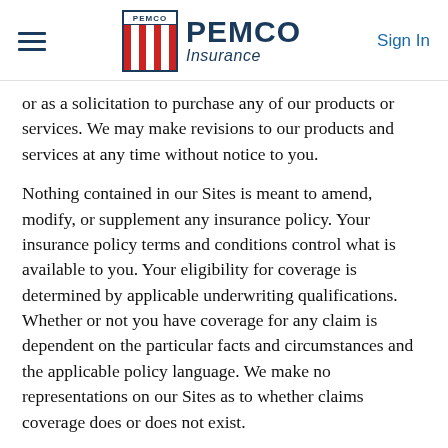PEMCO Insurance — Sign In
or as a solicitation to purchase any of our products or services. We may make revisions to our products and services at any time without notice to you.
Nothing contained in our Sites is meant to amend, modify, or supplement any insurance policy. Your insurance policy terms and conditions control what is available to you. Your eligibility for coverage is determined by applicable underwriting qualifications. Whether or not you have coverage for any claim is dependent on the particular facts and circumstances and the applicable policy language. We make no representations on our Sites as to whether claims coverage does or does not exist.
Any conflict between these Terms and Conditions and any other terms and conditions for a specific PEMCO Site or Service shall be controlled by the latter terms and conditions.